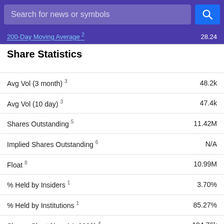Search for news or symbols
200-Day Moving Average  28.24
Share Statistics
| Metric | Value |
| --- | --- |
| Avg Vol (3 month) 3 | 48.2k |
| Avg Vol (10 day) 3 | 47.4k |
| Shares Outstanding 5 | 11.42M |
| Implied Shares Outstanding 6 | N/A |
| Float 8 | 10.99M |
| % Held by Insiders 1 | 3.70% |
| % Held by Institutions 1 | 85.27% |
| Shares Short (Aug 14, 2022) 4 | 104.76k |
| Short Ratio (Aug 14, 2022) 4 | 2.53 |
| Short % of Float (Aug 14, 2022) 4 | 1.11% |